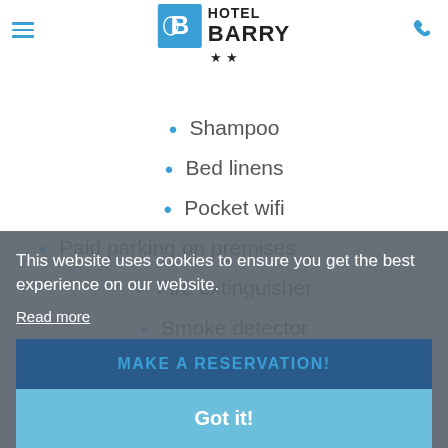[Figure (logo): Hotel Barry logo with blue square containing stylized B, text HOTEL BARRY with two stars below]
Shampoo
Bed linens
Pocket wifi
Paid parking on premises
Fire extinguisher
Smoke detector
Well-lit path to entrance
This website uses cookies to ensure you get the best experience on our website.
Read more
MAKE A RESERVATION!
Got it!